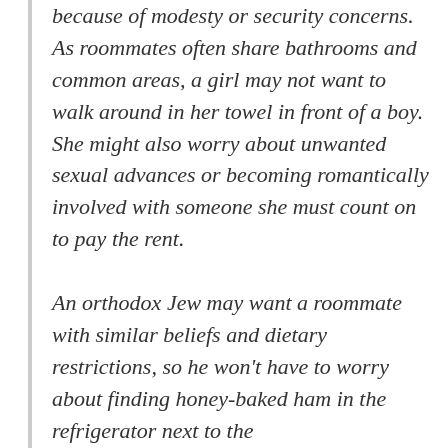because of modesty or security concerns. As roommates often share bathrooms and common areas, a girl may not want to walk around in her towel in front of a boy. She might also worry about unwanted sexual advances or becoming romantically involved with someone she must count on to pay the rent.

An orthodox Jew may want a roommate with similar beliefs and dietary restrictions, so he won't have to worry about finding honey-baked ham in the refrigerator next to the